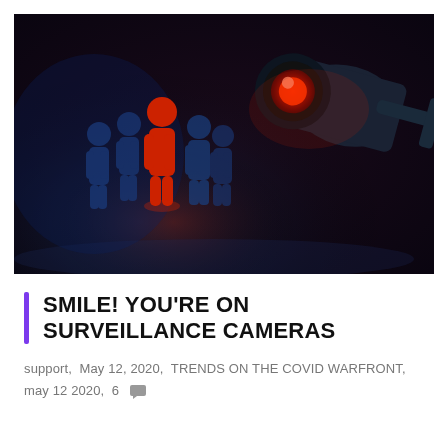[Figure (photo): A dark dramatic photo showing a surveillance security camera with a glowing red lens in the upper right, and several 3D humanoid figure icons in blue and one in red in the lower left, suggesting surveillance and identification of individuals from a crowd.]
SMILE! YOU'RE ON SURVEILLANCE CAMERAS
support, May 12, 2020, TRENDS ON THE COVID WARFRONT, may 12 2020, 6 [comment icon]